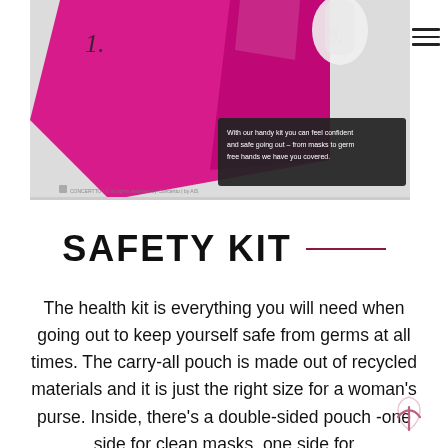[Figure (photo): Product image showing a pink/magenta safety kit or pouch with numbered tags (1. and 6. visible) and a dark overlay text box reading 'With our handy kit you can feel confident and safe going out – from masks to germ free hands we have you covered.' with a small logo/watermark at the bottom.]
SAFETY KIT
The health kit is everything you will need when going out to keep yourself safe from germs at all times. The carry-all pouch is made out of recycled materials and it is just the right size for a woman's purse. Inside, there's a double-sided pouch -one side for clean masks, one side for